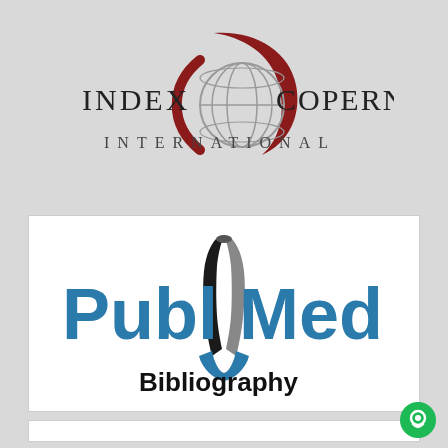[Figure (logo): Index Copernicus International logo with globe icon in dark red and serif text]
[Figure (logo): PubMed Bibliography logo with open book icon and blue bold text, with 'Bibliography' subtitle in black]